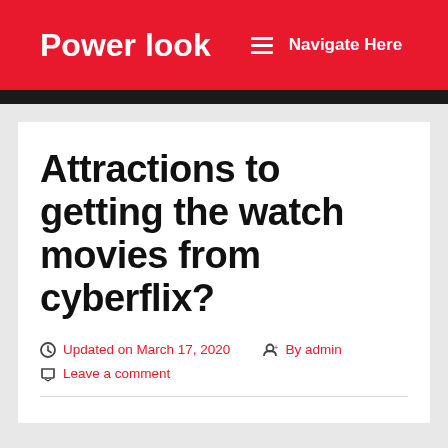Power look   Navigate Here
Attractions to getting the watch movies from cyberflix?
Updated on March 17, 2020   By admin
Leave a comment